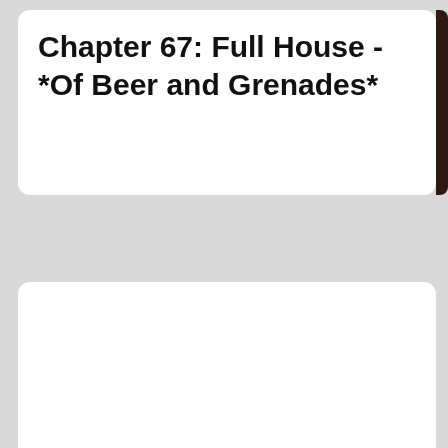Chapter 67: Full House - *Of Beer and Grenades*